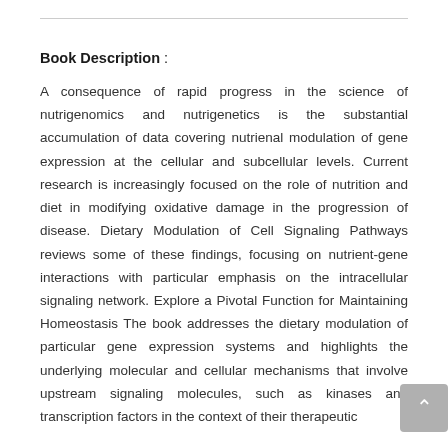Book Description :
A consequence of rapid progress in the science of nutrigenomics and nutrigenetics is the substantial accumulation of data covering nutrienal modulation of gene expression at the cellular and subcellular levels. Current research is increasingly focused on the role of nutrition and diet in modifying oxidative damage in the progression of disease. Dietary Modulation of Cell Signaling Pathways reviews some of these findings, focusing on nutrient-gene interactions with particular emphasis on the intracellular signaling network. Explore a Pivotal Function for Maintaining Homeostasis The book addresses the dietary modulation of particular gene expression systems and highlights the underlying molecular and cellular mechanisms that involve upstream signaling molecules, such as kinases and transcription factors in the context of their therapeutic